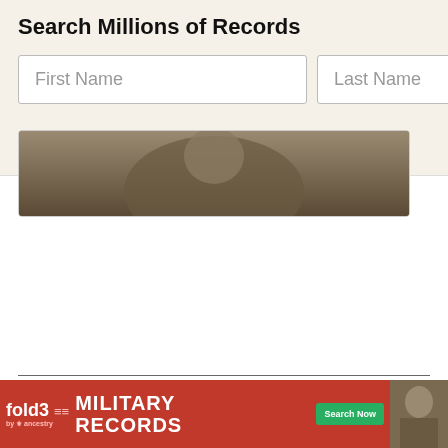Search Millions of Records
[Figure (screenshot): Search bar with First Name and Last Name input fields on a beige background]
[Figure (photo): Partial sepia photograph showing a person, cropped at top]
RootsWeb is funded and supported by Ancestry.com and our loyal RootsWeb community. Learn more.
About Us | Contact Us | Rootsweb Blog | Copyright
© 1997-2022 Ancestry  Corporate Information  Privacy  Terms and Conditions  CCPA Notice at Collection
[Figure (screenshot): fold3 by Ancestry advertisement banner - MILITARY RECORDS with Search Now button and soldier photo]